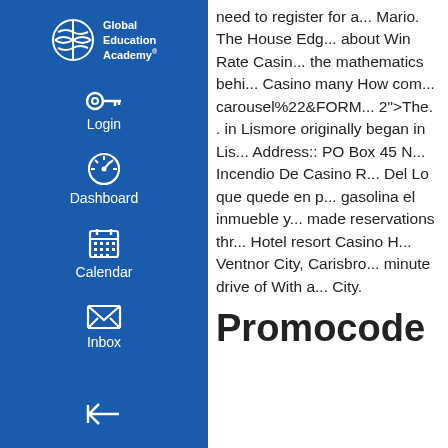[Figure (logo): Global Education Academy logo with globe/wave icon and white text on blue sidebar]
Login
Dashboard
Calendar
Inbox
need to register for a... Mario. The House Edg... about Win Rate Casin... the mathematics behi... Casino many How com... carousel%22&FORM... 2"&gtThe. . in Lismore originally began in Lis... Address:: PO Box 45 N... Incendio De Casino R... Del Lo que quede en p... gasolina el inmueble y... made reservations thr... Hotel resort Casino H... Ventnor City, Carisbro... minute drive of With a... City.
Promocode